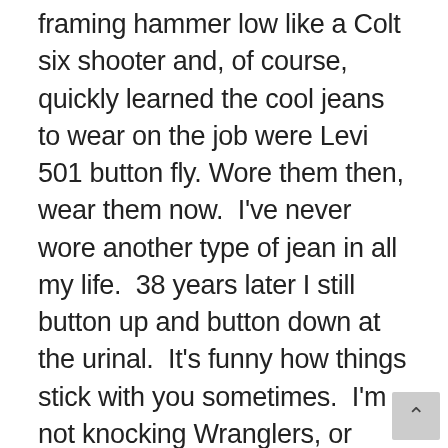framing hammer low like a Colt six shooter and, of course, quickly learned the cool jeans to wear on the job were Levi 501 button fly. Wore them then, wear them now.  I've never wore another type of jean in all my life.  38 years later I still button up and button down at the urinal.  It's funny how things stick with you sometimes.  I'm not knocking Wranglers, or Dickies, or Carhart, all of which I've seen on construction workers as well as bikers over the years.  I may have even sported an odd brand here or there in my day, but always returned to old faithful, Levi blue, plain and simple, no frills. One thing is for certain, I can't say I've ever wore a pair of jeans with